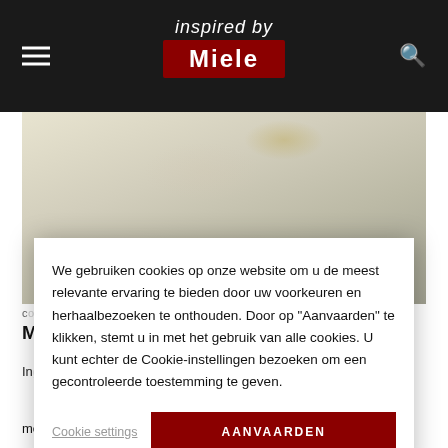inspired by Miele
[Figure (photo): Close-up photo of a white ceramic plate with food, light-colored dish with speckles and garnish]
c...
M...
We gebruiken cookies op onze website om u de meest relevante ervaring te bieden door uw voorkeuren en herhaalbezoeken te onthouden. Door op "Aanvaarden" te klikken, stemt u in met het gebruik van alle cookies. U kunt echter de Cookie-instellingen bezoeken om een gecontroleerde toestemming te geven.
Cookie settings | AANVAARDEN
meteen op het bord. Zo heb jij meer tijd voor waar je belang